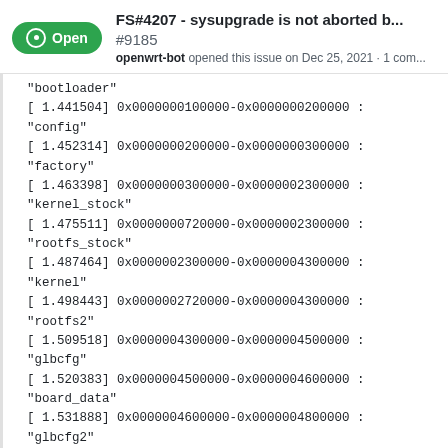FS#4207 - sysupgrade is not aborted b... #9185 openwrt-bot opened this issue on Dec 25, 2021 · 1 com...
"bootloader"
[ 1.441504] 0x0000000100000-0x0000000200000 : "config"
[ 1.452314] 0x0000000200000-0x0000000300000 : "factory"
[ 1.463398] 0x0000000300000-0x0000002300000 :
"kernel_stock"
[ 1.475511] 0x0000000720000-0x0000002300000 :
"rootfs_stock"
[ 1.487464] 0x0000002300000-0x0000004300000 : "kernel"
[ 1.498443] 0x0000002720000-0x0000004300000 : "rootfs2"
[ 1.509518] 0x0000004300000-0x0000004500000 : "glbcfg"
[ 1.520383] 0x0000004500000-0x0000004600000 :
"board_data"
[ 1.531888] 0x0000004600000-0x0000004800000 : "glbcfg2"
[ 1.542849] 0x0000004800000-0x0000004900000 :
"board_data2"
[ 1.554540] 0x0000004900000-0x000007f80000 : "data"
[ 1.565220] 0x0000002720000-0x0000004300000 : "ubipart0"
[ 1.576539] 0x0000004600000-0x000007f80000 : "ubipart1"
[ 1.596752] Concatenating MTD devices: